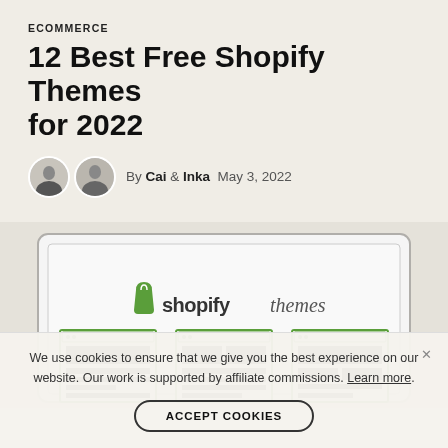ECOMMERCE
12 Best Free Shopify Themes for 2022
By Cai & Inka  May 3, 2022
[Figure (illustration): Laptop screen displaying 'shopify themes' logo with three website layout mockups below, shown on a light grey background]
We use cookies to ensure that we give you the best experience on our website. Our work is supported by affiliate commissions. Learn more.
ACCEPT COOKIES